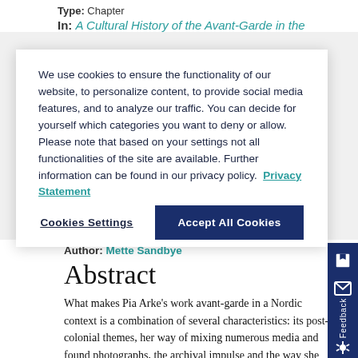Type: Chapter
In: A Cultural History of the Avant-Garde in the
We use cookies to ensure the functionality of our website, to personalize content, to provide social media features, and to analyze our traffic. You can decide for yourself which categories you want to deny or allow. Please note that based on your settings not all functionalities of the site are available. Further information can be found in our privacy policy. Privacy Statement
Cookies Settings
Accept All Cookies
Author: Mette Sandbye
Abstract
What makes Pia Arke's work avant-garde in a Nordic context is a combination of several characteristics: its post-colonial themes, her way of mixing numerous media and found photographs, the archival impulse and the way she worked with